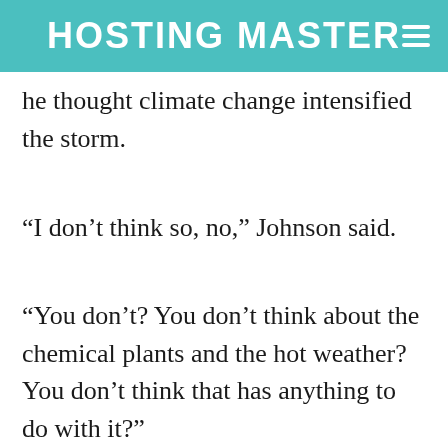HOSTING MASTER
he thought climate change intensified the storm.
“I don’t think so, no,” Johnson said.
“You don’t? You don’t think about the chemical plants and the hot weather? You don’t think that has anything to do with it?”